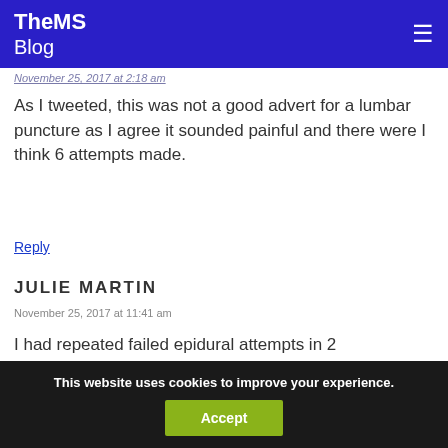TheMS Blog
November 25, 2017 at 2:18 am
As I tweeted, this was not a good advert for a lumbar puncture as I agree it sounded painful and there were I think 6 attempts made.
Reply
JULIE MARTIN
November 25, 2017 at 11:41 am
I had repeated failed epidural attempts in 2
This website uses cookies to improve your experience.